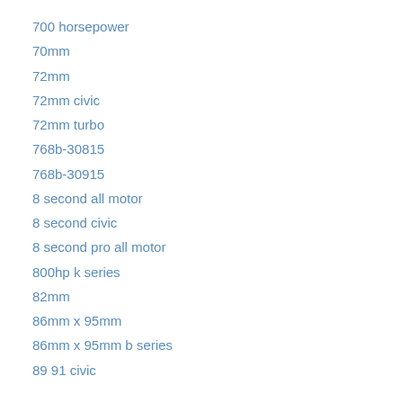700 horsepower
70mm
72mm
72mm civic
72mm turbo
768b-30815
768b-30915
8 second all motor
8 second civic
8 second pro all motor
800hp k series
82mm
86mm x 95mm
86mm x 95mm b series
89 91 civic